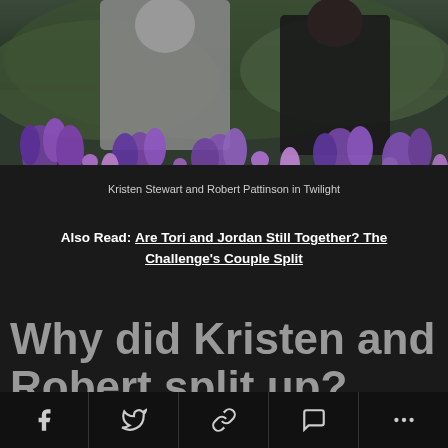[Figure (photo): Photo of Kristen Stewart and Robert Pattinson among purple flowers in a field scene from Twilight]
Kristen Stewart and Robert Pattinson in Twilight
Also Read: Are Tori and Jordan Still Together? The Challenge's Couple Split
Why did Kristen and Robert split up?